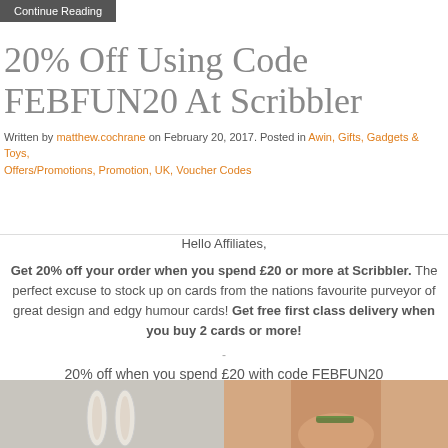Continue Reading
20% Off Using Code FEBFUN20 At Scribbler
Written by matthew.cochrane on February 20, 2017. Posted in Awin, Gifts, Gadgets & Toys, Offers/Promotions, Promotion, UK, Voucher Codes
Hello Affiliates,
Get 20% off your order when you spend £20 or more at Scribbler. The perfect excuse to stock up on cards from the nations favourite purveyor of great design and edgy humour cards! Get free first class delivery when you buy 2 cards or more!
-
20% off when you spend £20 with code FEBFUN20
[Figure (photo): Two images side by side: left shows rabbit ears illustration on grey background; right shows a photo of a person's wrist with a bracelet.]